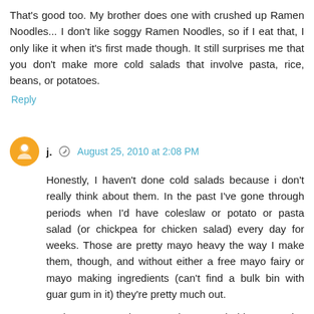That's good too. My brother does one with crushed up Ramen Noodles... I don't like soggy Ramen Noodles, so if I eat that, I only like it when it's first made though. It still surprises me that you don't make more cold salads that involve pasta, rice, beans, or potatoes.
Reply
j.  August 25, 2010 at 2:08 PM
Honestly, I haven't done cold salads because i don't really think about them. In the past I've gone through periods when I'd have coleslaw or potato or pasta salad (or chickpea for chicken salad) every day for weeks. Those are pretty mayo heavy the way I make them, though, and without either a free mayo fairy or mayo making ingredients (can't find a bulk bin with guar gum in it) they're pretty much out.

Lucky me, I'm done growing. Good thing, too- it's already tough to find jeans and shirts that are long enough.
Reply